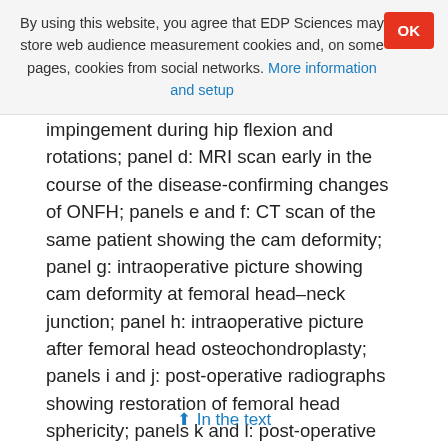By using this website, you agree that EDP Sciences may store web audience measurement cookies and, on some pages, cookies from social networks. More information and setup
impingement during hip flexion and rotations; panel d: MRI scan early in the course of the disease-confirming changes of ONFH; panels e and f: CT scan of the same patient showing the cam deformity; panel g: intraoperative picture showing cam deformity at femoral head–neck junction; panel h: intraoperative picture after femoral head osteochondroplasty; panels i and j: post-operative radiographs showing restoration of femoral head sphericity; panels k and l: post-operative follow-up images showing restoration of hip range of motion.
In the text